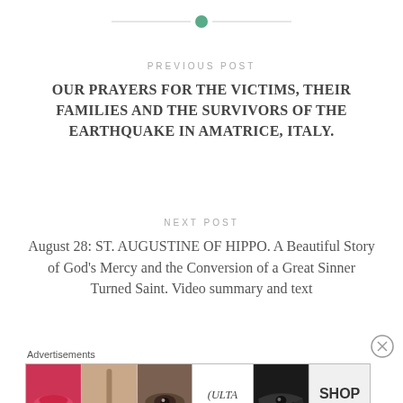[Figure (other): Decorative horizontal line divider with green circle dot in the center]
PREVIOUS POST
OUR PRAYERS FOR THE VICTIMS, THEIR FAMILIES AND THE SURVIVORS OF THE EARTHQUAKE IN AMATRICE, ITALY.
NEXT POST
August 28: ST. AUGUSTINE OF HIPPO. A Beautiful Story of God's Mercy and the Conversion of a Great Sinner Turned Saint. Video summary and text
Advertisements
[Figure (other): Advertisement banner showing beauty/makeup images including lips, brush, eye, Ulta logo, eye makeup, and SHOP NOW text]